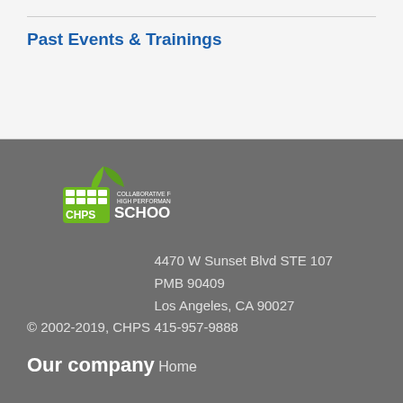Past Events & Trainings
[Figure (logo): CHPS - Collaborative for High Performance Schools logo with green leaf and grid icon]
© 2002-2019, CHPS
4470 W Sunset Blvd STE 107
PMB 90409
Los Angeles, CA 90027
415-957-9888
Our company
Home